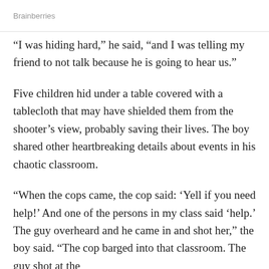Brainberries
“I was hiding hard,” he said, “and I was telling my friend to not talk because he is going to hear us.”
Five children hid under a table covered with a tablecloth that may have shielded them from the shooter’s view, probably saving their lives. The boy shared other heartbreaking details about events in his chaotic classroom.
“When the cops came, the cop said: ‘Yell if you need help!’ And one of the persons in my class said ‘help.’ The guy overheard and he came in and shot her,” the boy said. “The cop barged into that classroom. The guy shot at the